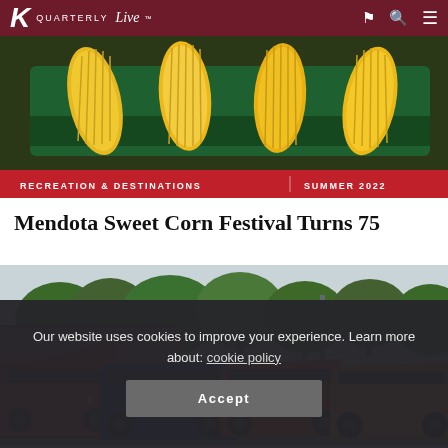K Quarterly Live — RECREATION & DESTINATIONS | SUMMER 2022
[Figure (photo): Close-up photo of yellow corn on the cob on a green tray, with red tag bar reading RECREATION & DESTINATIONS | SUMMER 2022]
Mendota Sweet Corn Festival Turns 75
[Figure (photo): Outdoor car show with colorful cars (Mustangs in red, blue, orange) with hoods open, lined up in a parking area with green trees and brick buildings in background]
Our website uses cookies to improve your experience. Learn more about: cookie policy
Accept